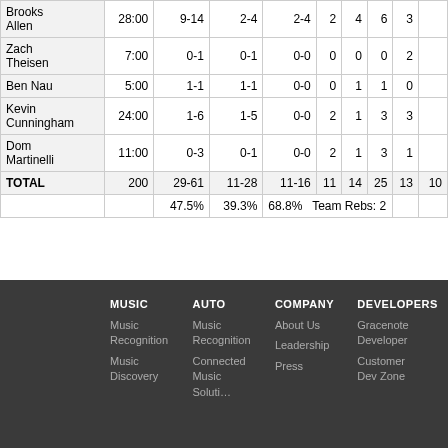|  | MIN | FG | 3PT | FT | OR | DR | REB | AST | ... |
| --- | --- | --- | --- | --- | --- | --- | --- | --- | --- |
| Brooks Allen | 28:00 | 9-14 | 2-4 | 2-4 | 2 | 4 | 6 | 3 |  |
| Zach Theisen | 7:00 | 0-1 | 0-1 | 0-0 | 0 | 0 | 0 | 2 |  |
| Ben Nau | 5:00 | 1-1 | 1-1 | 0-0 | 0 | 1 | 1 | 0 |  |
| Kevin Cunningham | 24:00 | 1-6 | 1-5 | 0-0 | 2 | 1 | 3 | 3 |  |
| Dom Martinelli | 11:00 | 0-3 | 0-1 | 0-0 | 2 | 1 | 3 | 1 |  |
| TOTAL | 200 | 29-61 | 11-28 | 11-16 | 11 | 14 | 25 | 13 | 10 |
|  |  | 47.5% | 39.3% | 68.8% | Team Rebs: 2 |  |  |  |  |
MUSIC
Music Recognition
Music Discovery
AUTO
Music Recognition
Connected Music Solution
COMPANY
About Us
Leadership
Press
DEVELOPERS
Gracenote Developer
Customer Dev Zone